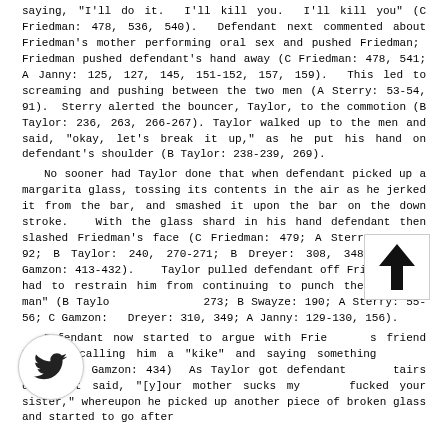saying, "I'll do it. I'll kill you. I'll kill you" (C Friedman: 478, 536, 540). Defendant next commented about Friedman's mother performing oral sex and pushed Friedman; Friedman pushed defendant's hand away (C Friedman: 478, 541; A Janny: 125, 127, 145, 151-152, 157, 159). This led to screaming and pushing between the two men (A Sterry: 53-54, 91). Sterry alerted the bouncer, Taylor, to the commotion (B Taylor: 236, 263, 266-267). Taylor walked up to the men and said, "okay, let's break it up," as he put his hand on defendant's shoulder (B Taylor: 238-239, 269).
No sooner had Taylor done that when defendant picked up a margarita glass, tossing its contents in the air as he jerked it from the bar, and smashed it upon the bar on the down stroke. With the glass shard in his hand defendant then slashed Friedman's face (C Friedman: 479; A Sterry: 53-54, 92; B Taylor: 240, 270-271; B Dreyer: 308, 348, 351; C Gamzon: 413-432). Taylor pulled defendant off Friedman and had to restrain him from continuing to punch the "slashed man" (B Taylor: 273; B Swayze: 190; A Sterry: 55-56; C Gamzon: Dreyer: 310, 349; A Janny: 129-130, 156).
Defendant now started to argue with Friedman's friend Dreyer, calling him a "kike" and saying something "nazi" (C Gamzon: 434) As Taylor got defendant tairs defendant said, "[y]our mother sucks my fucked your sister," whereupon he picked up another piece of broken glass and started to go after
[Figure (illustration): Twitter bird logo icon in a white circle with light border]
[Figure (illustration): Upward pointing arrow in a white square box with light border]